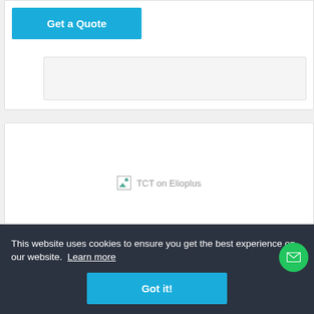[Figure (screenshot): Get a Quote button - blue rectangular button with white bold text]
[Figure (screenshot): Placeholder image area (gray box)]
[Figure (screenshot): TCT on Elioplus - broken image icon with alt text 'TCT on Elioplus']
TCT
Email
Backup & Restore
MSPs
This website uses cookies to ensure you get the best experience on our website. Learn more
[Figure (screenshot): Got it! button - blue rectangular button with white bold text]
[Figure (illustration): Green circle email/chat icon in bottom right corner]